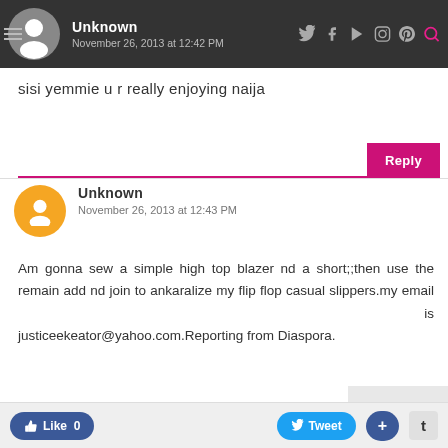Unknown — November 26, 2013 at 12:42 PM
sisi yemmie u r really enjoying naija
Reply
Unknown
November 26, 2013 at 12:43 PM
Am gonna sew a simple high top blazer nd a short;;then use the remain add nd join to ankaralize my flip flop casual slippers.my email is justiceekeator@yahoo.com.Reporting from Diaspora.
Like 0   Tweet   +   t